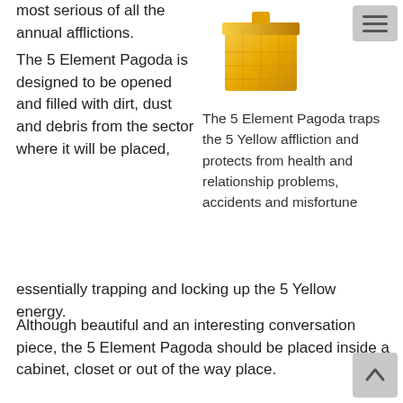most serious of all the annual afflictions.
[Figure (photo): A gold metallic 5 Element Pagoda figurine/box photographed against a white background]
[Figure (other): Hamburger menu button (three horizontal lines on grey background)]
The 5 Element Pagoda is designed to be opened and filled with dirt, dust and debris from the sector where it will be placed, essentially trapping and locking up the 5 Yellow energy.
The 5 Element Pagoda traps the 5 Yellow affliction and protects from health and relationship problems, accidents and misfortune
Although beautiful and an interesting conversation piece, the 5 Element Pagoda should be placed inside a cabinet, closet or out of the way place.
Because the 5 Yellow is both an annual and monthly star, it's a good idea to have two of these to use.
One can be used for the annual 5 Yellow and the second
[Figure (other): Scroll-up arrow button (upward arrow on grey background)]